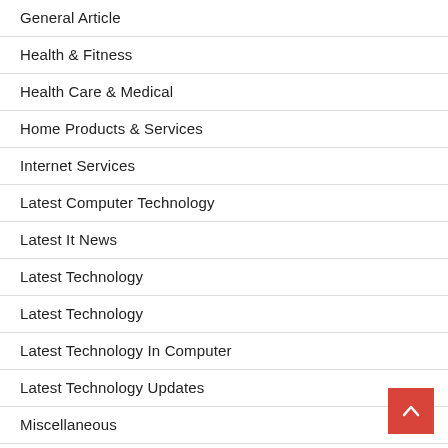General Article
Health & Fitness
Health Care & Medical
Home Products & Services
Internet Services
Latest Computer Technology
Latest It News
Latest Technology
Latest Technology
Latest Technology In Computer
Latest Technology Updates
Miscellaneous
New Technology